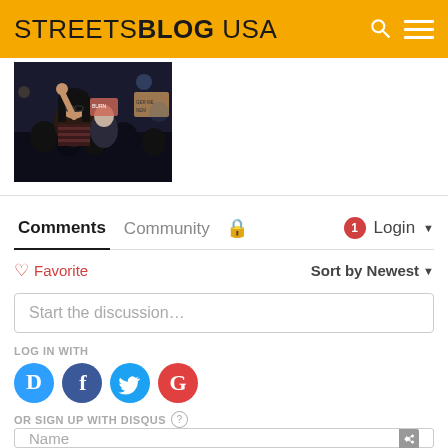STREETSBLOG USA
[Figure (photo): Protest photo showing a woman with raised fist in a crowd holding signs]
Comments	Community	🔒	1	Login
♡ Favorite	Sort by Newest
Start the discussion...
LOG IN WITH
OR SIGN UP WITH DISQUS ?
Name